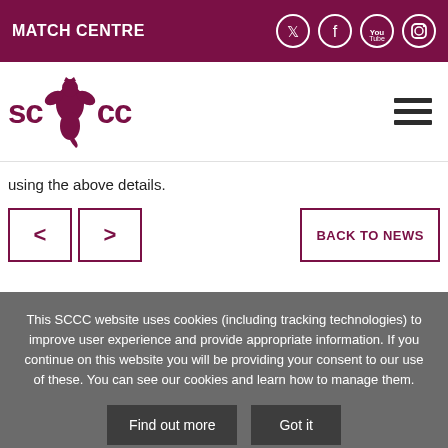MATCH CENTRE
[Figure (logo): SCCC cricket club logo with griffin/dragon emblem in maroon]
using the above details.
< > BACK TO NEWS
This SCCC website uses cookies (including tracking technologies) to improve user experience and provide appropriate information. If you continue on this website you will be providing your consent to our use of these. You can see our cookies and learn how to manage them.
Find out more   Got it